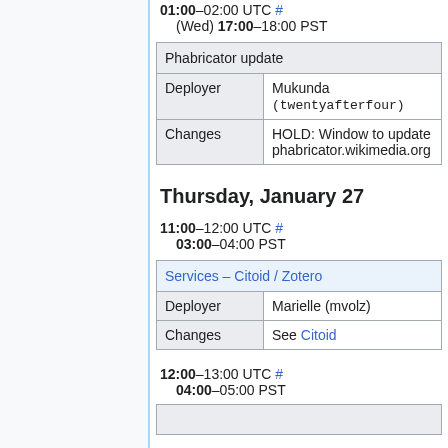01:00–02:00 UTC # (Wed) 17:00–18:00 PST
| Phabricator update |
| --- |
| Deployer | Mukunda (twentyafterfour) |
| Changes | HOLD: Window to update phabricator.wikimedia.org |
Thursday, January 27
11:00–12:00 UTC # 03:00–04:00 PST
| Services – Citoid / Zotero |
| --- |
| Deployer | Marielle (mvolz) |
| Changes | See Citoid |
12:00–13:00 UTC # 04:00–05:00 PST